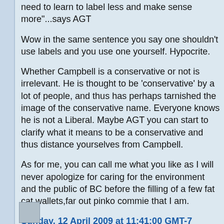need to learn to label less and make sense more"...says AGT
Wow in the same sentence you say one shouldn't use labels and you use one yourself. Hypocrite.
Whether Campbell is a conservative or not is irrelevant. He is thought to be 'conservative' by a lot of people, and thus has perhaps tarnished the image of the conservative name. Everyone knows he is not a Liberal. Maybe AGT you can start to clarify what it means to be a conservative and thus distance yourselves from Campbell.
As for me, you can call me what you like as I will never apologize for caring for the environment and the public of BC before the filling of a few fat cat wallets,far out pinko commie that I am.
Sunday, 12 April 2009 at 11:41:00 GMT-7 RossK said...